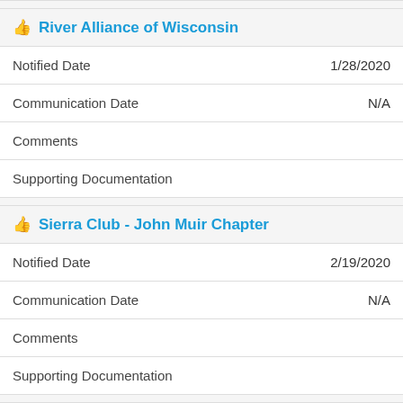River Alliance of Wisconsin
| Field | Value |
| --- | --- |
| Notified Date | 1/28/2020 |
| Communication Date | N/A |
| Comments |  |
| Supporting Documentation |  |
Sierra Club - John Muir Chapter
| Field | Value |
| --- | --- |
| Notified Date | 2/19/2020 |
| Communication Date | N/A |
| Comments |  |
| Supporting Documentation |  |